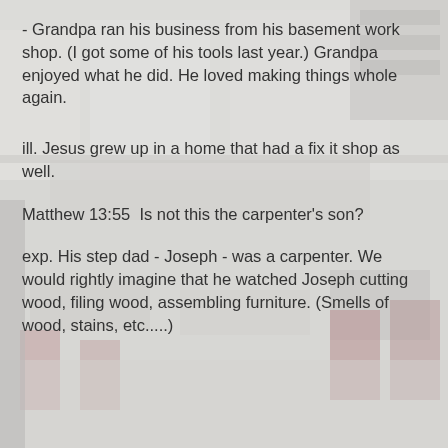[Figure (photo): Background photo of a café or workshop interior with tables, chairs, shelving, and equipment, shown faded/washed out behind overlaid text.]
- Grandpa ran his business from his basement work shop. (I got some of his tools last year.) Grandpa enjoyed what he did. He loved making things whole again.
ill. Jesus grew up in a home that had a fix it shop as well.
Matthew 13:55  Is not this the carpenter's son?
exp. His step dad - Joseph - was a carpenter. We would rightly imagine that he watched Joseph cutting wood, filing wood, assembling furniture. (Smells of wood, stains, etc.....)